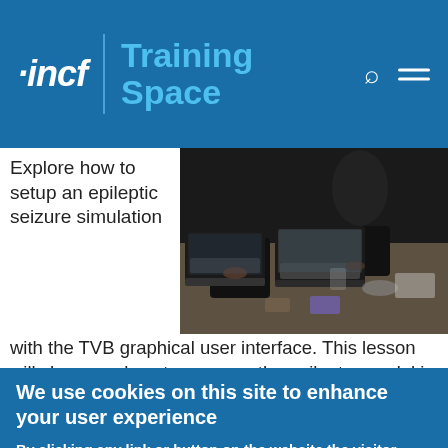incf | Training Space
Explore how to setup an epileptic seizure simulation with the TVB graphical user interface. This lesson will show you how to program the epileptor model in the brain network to simulate a epileptic seizure originating in the hippocampus. It will also show how to upload and view mouse connectivity data, as well as...
[Figure (photo): Photo of people working at computers in a training/workshop setting, viewed from above, dark toned image]
We use cookies on this site to enhance your user experience

By clicking any link or button on the website the visitor accepts the cookie policy. More info

Accept    No, thanks